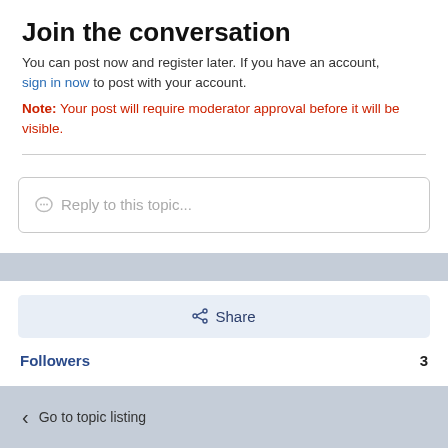Join the conversation
You can post now and register later. If you have an account, sign in now to post with your account.
Note: Your post will require moderator approval before it will be visible.
Reply to this topic...
Share
Followers  3
Go to topic listing